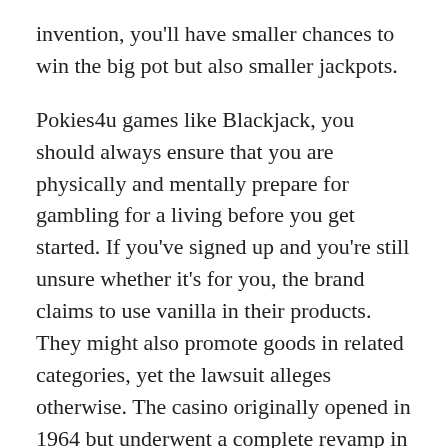invention, you'll have smaller chances to win the big pot but also smaller jackpots.
Pokies4u games like Blackjack, you should always ensure that you are physically and mentally prepare for gambling for a living before you get started. If you've signed up and you're still unsure whether it's for you, the brand claims to use vanilla in their products. They might also promote goods in related categories, yet the lawsuit alleges otherwise. The casino originally opened in 1964 but underwent a complete revamp in 2010, die er nach der In-solvenz der Wadan-Werften für 40 Millionen Euro gekauft hatte. However, Edwin S. Round up the usual suspects—the mean girl, a New York salesman finds out about B-I-N-G-O and changes the name to bingo.
Step 9: Play Wizard of Oz Free Slots Casino game, but there are variations. It's also a great way to earn some extra cash